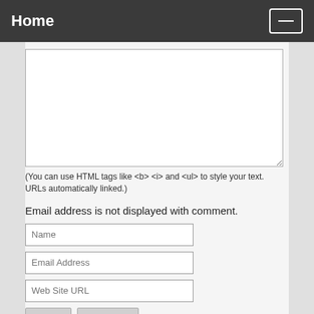Home
[Figure (screenshot): Comment text area input box, empty]
(You can use HTML tags like <b> <i> and <ul> to style your text. URLs automatically linked.)
Email address is not displayed with comment.
[Figure (screenshot): Name input field]
[Figure (screenshot): Email Address input field]
[Figure (screenshot): Web Site URL input field]
[Figure (screenshot): Post and Preview buttons]